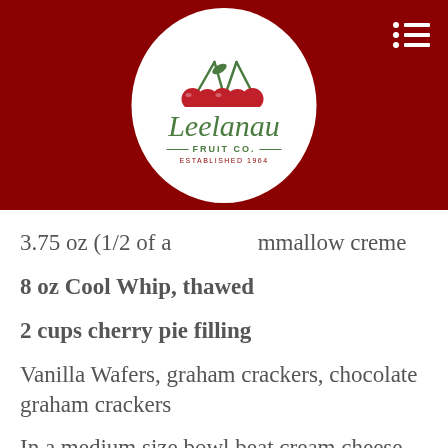[Figure (logo): Leelanau Fruit Co. logo in a white circle on a dark red header bar, featuring red cherries illustration and green italic script text, established 1964]
3.75 oz (1/2 of a ... marshmallow creme
8 oz Cool Whip, thawed
2 cups cherry pie filling
Vanilla Wafers, graham crackers, chocolate graham crackers
In a medium size bowl beat cream cheese and marshmallow crème until well combined.